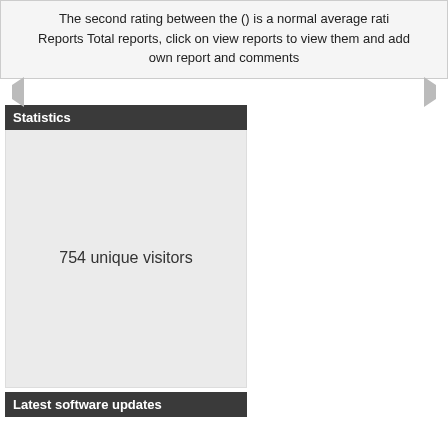The second rating between the () is a normal average rating. Reports Total reports, click on view reports to view them and add own report and comments
Statistics
754 unique visitors
Latest software updates